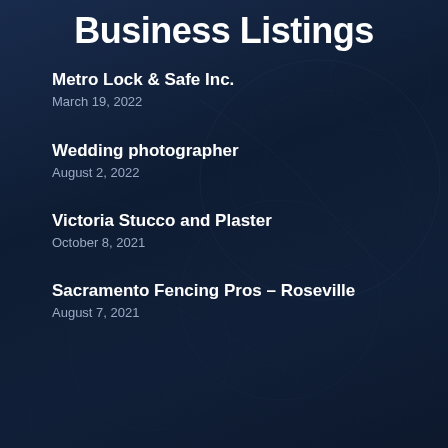Business Listings
Metro Lock & Safe Inc.
March 19, 2022
Wedding photographer
August 2, 2022
Victoria Stucco and Plaster
October 8, 2021
Sacramento Fencing Pros – Roseville
August 7, 2021